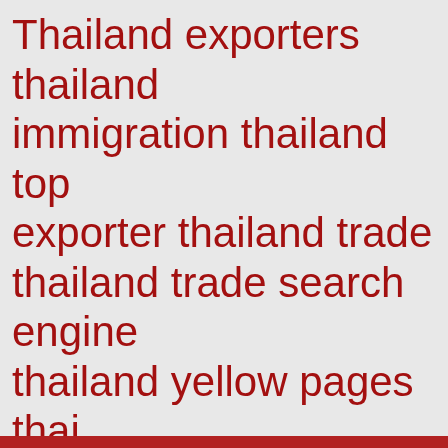[Figure (infographic): Tag cloud featuring Thailand trade and Toyota export related keywords in varying font sizes, all in dark red color on light gray background. Terms include: Thailand exporters, thailand immigration, thailand top exporter, thailand trade, thailand trade search engine, thailand yellow pages, thai search engine, thai trade, thai trade leads, toyota export motorcars, toyota exports, Toyota Hilux Revo, Toyota Hilux Revo 2016, Toyota Hilux Revo Car Exporter, Toyota Hilux Revo Dealer, Toyota Hilux Vigo, toyota pickups, toyota wellsides, Trinidad, toyota vigo, vigo exporter, West Africa, car export, West Africa car import.]